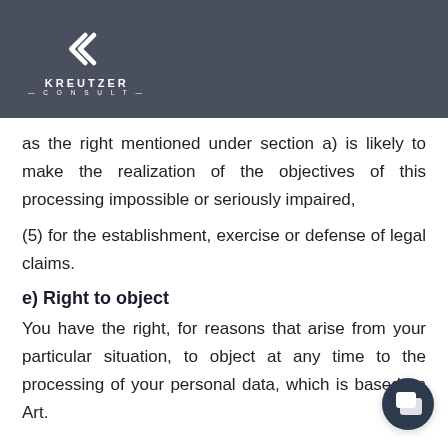KREUTZER CONSULT
as the right mentioned under section a) is likely to make the realization of the objectives of this processing impossible or seriously impaired,
(5) for the establishment, exercise or defense of legal claims.
e) Right to object
You have the right, for reasons that arise from your particular situation, to object at any time to the processing of your personal data, which is based on Art.